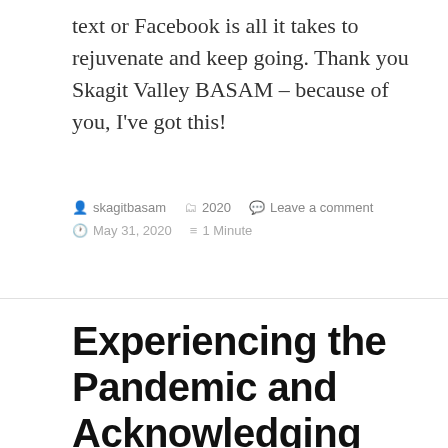text or Facebook is all it takes to rejuvenate and keep going. Thank you Skagit Valley BASAM – because of you, I've got this!
skagitbasam  2020  Leave a comment  May 31, 2020  1 Minute
Experiencing the Pandemic and Acknowledging our Uniqueness – the BASAM Way